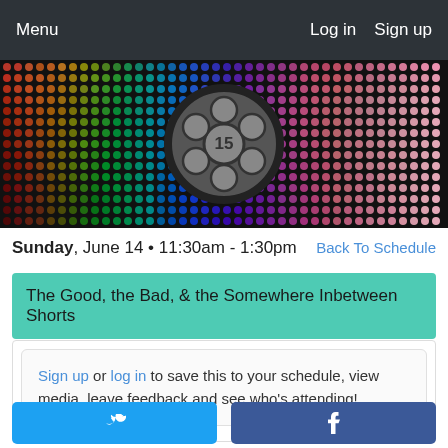Menu   Log in   Sign up
[Figure (illustration): Colorful dot-matrix LED board background with a film reel icon showing '15' in the center]
Sunday, June 14 • 11:30am - 1:30pm   Back To Schedule
The Good, the Bad, & the Somewhere Inbetween Shorts
Sign up or log in to save this to your schedule, view media, leave feedback and see who's attending!
[Figure (other): Twitter and Facebook share/social buttons]